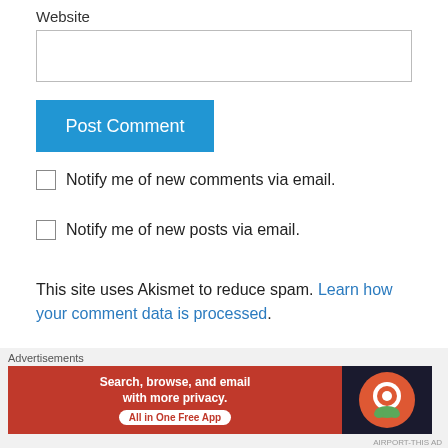Website
Post Comment
Notify me of new comments via email.
Notify me of new posts via email.
This site uses Akismet to reduce spam. Learn how your comment data is processed.
Chris - CJ Attractions Guide on June 14, 2020 at 8:52
[Figure (screenshot): Advertisement banner: DuckDuckGo - Search, browse, and email with more privacy. All in One Free App]